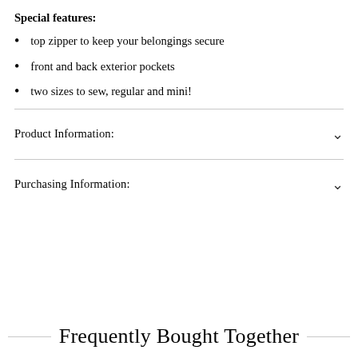Special features:
top zipper to keep your belongings secure
front and back exterior pockets
two sizes to sew, regular and mini!
Product Information:
Purchasing Information:
Frequently Bought Together